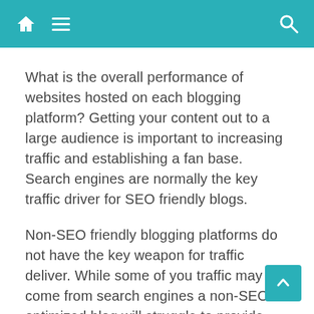Navigation bar with home, menu, and search icons
What is the overall performance of websites hosted on each blogging platform? Getting your content out to a large audience is important to increasing traffic and establishing a fan base. Search engines are normally the key traffic driver for SEO friendly blogs.
Non-SEO friendly blogging platforms do not have the key weapon for traffic deliver. While some of you traffic may still come from search engines a non-SEO optimized blog will struggle to provide search engines with what they consider when valuing content on your blog.